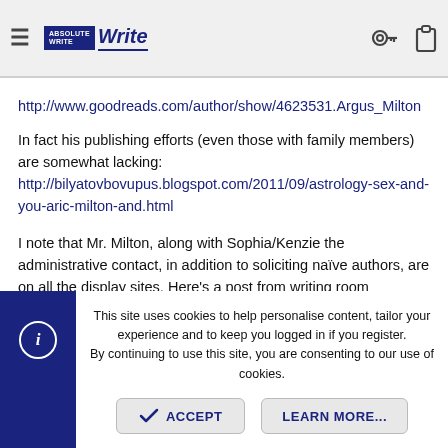AbsoluteWrite [nav bar with hamburger menu, logo, key icon, clipboard icon]
http://www.goodreads.com/author/show/4623531.Argus_Milton
In fact his publishing efforts (even those with family members) are somewhat lacking: http://bilyatovbovupus.blogspot.com/2011/09/astrology-sex-and-you-aric-milton-and.html
I note that Mr. Milton, along with Sophia/Kenzie the administrative contact, in addition to soliciting naïve authors, are on all the display sites. Here's a post from writing room (http://www.writingroom.com/DipPub
This site uses cookies to help personalise content, tailor your experience and to keep you logged in if you register.
By continuing to use this site, you are consenting to our use of cookies.